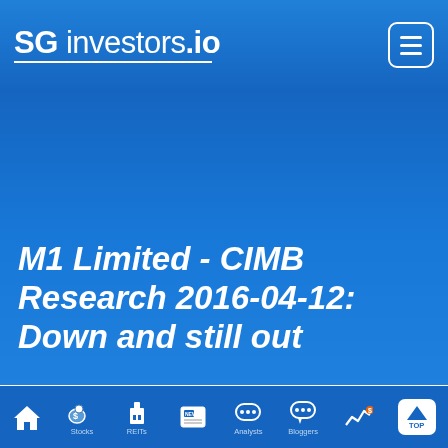SG investors.io
M1 Limited - CIMB Research 2016-04-12: Down and still out
M1 Limited - Down And Still Out
1.  New promos to put some
[Figure (logo): M1 Limited orange circle logo with stylized 'm1' text in white and navy]
Home | Stocks | REITs | News | Analysts | Bloggers | Charts | Top